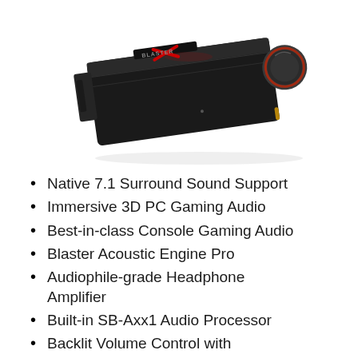[Figure (photo): Product photo of a Creative Sound BlasterX G6 external USB sound card / DAC with red illuminated volume knob and red X logo, shown at an angle against white background.]
Native 7.1 Surround Sound Support
Immersive 3D PC Gaming Audio
Best-in-class Console Gaming Audio
Blaster Acoustic Engine Pro
Audiophile-grade Headphone Amplifier
Built-in SB-Axx1 Audio Processor
Backlit Volume Control with Illuminated Volume Indicator